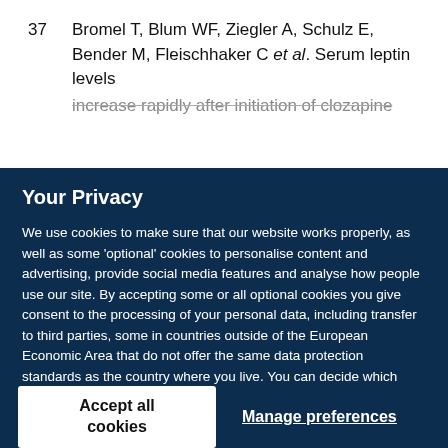37  Bromel T, Blum WF, Ziegler A, Schulz E, Bender M, Fleischhaker C et al. Serum leptin levels increase rapidly after initiation of clozapine
Your Privacy
We use cookies to make sure that our website works properly, as well as some 'optional' cookies to personalise content and advertising, provide social media features and analyse how people use our site. By accepting some or all optional cookies you give consent to the processing of your personal data, including transfer to third parties, some in countries outside of the European Economic Area that do not offer the same data protection standards as the country where you live. You can decide which optional cookies to accept by clicking on 'Manage Settings', where you can also find more information about how your personal data is processed. Further information can be found in our privacy policy.
Accept all cookies
Manage preferences